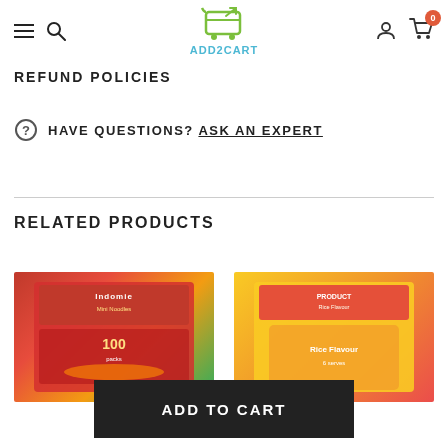ADD2CART
REFUND POLICIES
HAVE QUESTIONS? ASK AN EXPERT
RELATED PRODUCTS
[Figure (photo): Two product images of instant noodle packages shown side by side as related products]
ADD TO CART